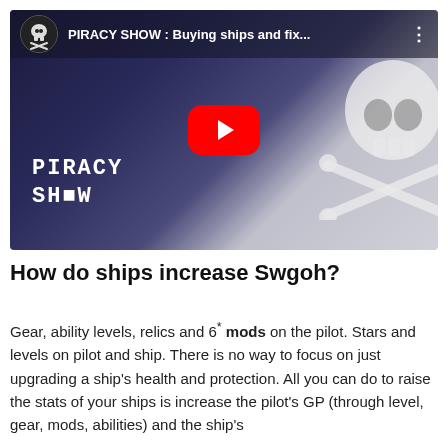[Figure (screenshot): YouTube video thumbnail for 'PIRACY SHOW : Buying ships and fix...' showing a dark spacecraft on a gradient background with PIRACY SHOW text and a skull-and-crossbones logo. A red YouTube play button is centered on the thumbnail.]
How do ships increase Swgoh?
Gear, ability levels, relics and 6* mods on the pilot. Stars and levels on pilot and ship. There is no way to focus on just upgrading a ship's health and protection. All you can do to raise the stats of your ships is increase the pilot's GP (through level, gear, mods, abilities) and the ship's